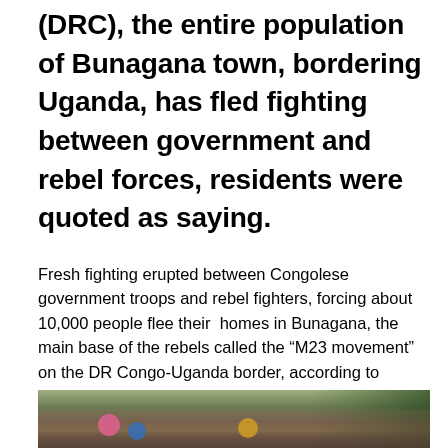(DRC), the entire population of Bunagana town, bordering Uganda, has fled fighting between government and rebel forces, residents were quoted as saying.
Fresh fighting erupted between Congolese government troops and rebel fighters, forcing about 10,000 people flee their homes in Bunagana, the main base of the rebels called the “M23 movement” on the DR Congo-Uganda border, according to UNHCR.
[Figure (photo): A large crowd of displaced people, including women and children in colorful clothing, gathered outdoors near trees and a building, likely in Bunagana or surrounding area.]